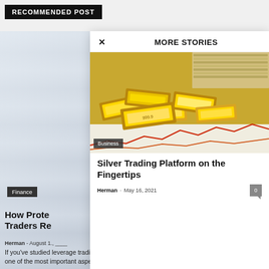RECOMMENDED POST
[Figure (screenshot): Left column background: blurred office/building scene in light gray tones]
Finance
How Prote... Traders Re...
Herman - August 1., ____
If you've studied leverage trading and other related topics, you'll realize that one of the most important aspects to consider is money management. To...
[Figure (screenshot): Modal popup overlay showing 'MORE STORIES' header with X close button, gold bars image with 'Business' badge, article title 'Silver Trading Platform on the Fingertips', author Herman, date May 16 2021, comment count 0]
MORE STORIES
[Figure (photo): Photo of gold bullion bars stacked on financial charts/documents with scattered US dollar bills in background]
Business
Silver Trading Platform on the Fingertips
Herman - May 16, 2021